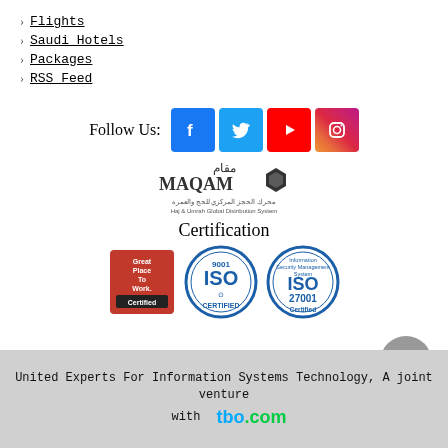> Flights
> Saudi Hotels
> Packages
> RSS Feed
Follow Us:
[Figure (logo): Social media icons: Facebook, Twitter, YouTube, Instagram]
[Figure (logo): MAQAM logo - Haj & Umrah Global Distribution System]
Certification
[Figure (logo): Certification badges: Great Place To Work Certified, ISO 9001 Certified, ISO 27001 Certified]
United Experts For Information Systems Technology, A joint venture with tbo.com